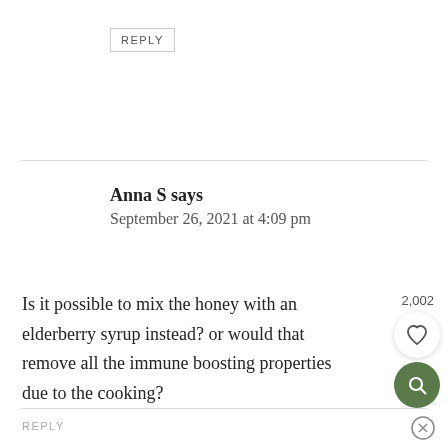REPLY
Anna S says
September 26, 2021 at 4:09 pm
Is it possible to mix the honey with an elderberry syrup instead? or would that remove all the immune boosting properties due to the cooking?
REPLY